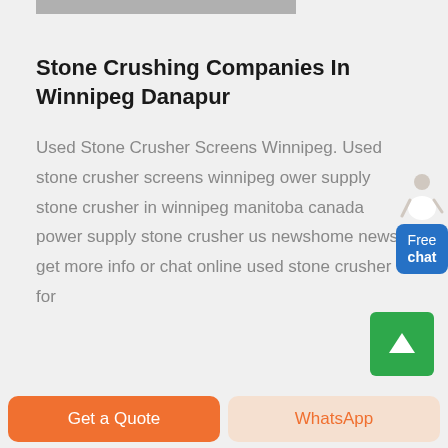[Figure (photo): Partial image strip at the top of the page, cropped]
Stone Crushing Companies In Winnipeg Danapur
Used Stone Crusher Screens Winnipeg. Used stone crusher screens winnipeg ower supply stone crusher in winnipeg manitoba canada power supply stone crusher us newshome news get more info or chat online used stone crusher for
[Figure (illustration): Free chat widget with person figure and blue bubble saying Free chat]
[Figure (illustration): Green scroll-to-top button with upward arrow]
Get a Quote | WhatsApp